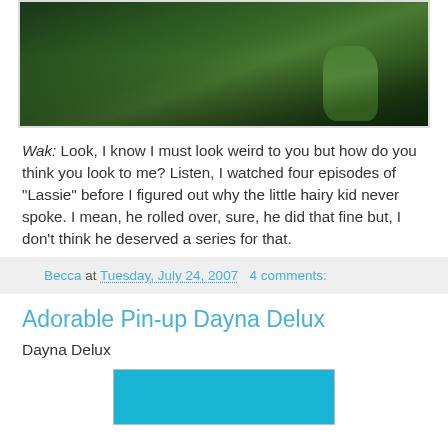[Figure (photo): Close-up photo of a green figure or object, appears to be a sculptural or natural green form against a dark background]
Wak: Look, I know I must look weird to you but how do you think you look to me? Listen, I watched four episodes of "Lassie" before I figured out why the little hairy kid never spoke. I mean, he rolled over, sure, he did that fine but, I don't think he deserved a series for that.
Becca at Tuesday, July 24, 2007   4 comments:
Adorable Pin-up Dayna Delux
Dayna Delux
[Figure (photo): Bottom portion of a photo with teal/cyan background, partially visible]